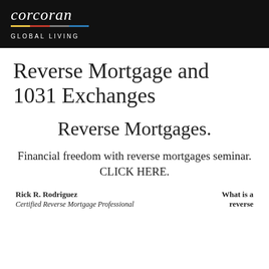corcoran GLOBAL LIVING
Reverse Mortgage and 1031 Exchanges
Reverse Mortgages.
Financial freedom with reverse mortgages seminar. CLICK HERE.
Rick R. Rodriguez
Certified Reverse Mortgage Professional
What is a reverse